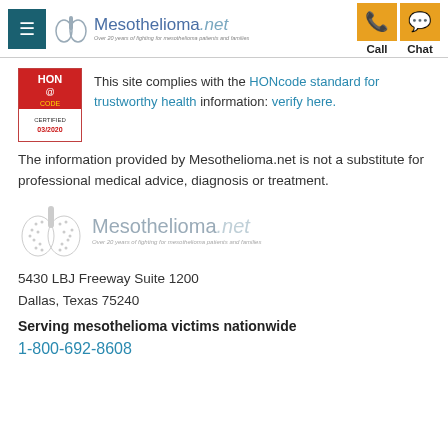Mesothelioma.net — Call | Chat
[Figure (logo): HON Code Certified 03/2020 badge]
This site complies with the HONcode standard for trustworthy health information: verify here.
The information provided by Mesothelioma.net is not a substitute for professional medical advice, diagnosis or treatment.
[Figure (logo): Mesothelioma.net footer logo with lungs icon and tagline: Over 20 years of fighting for mesothelioma patients and families]
5430 LBJ Freeway Suite 1200
Dallas, Texas 75240
Serving mesothelioma victims nationwide
1-800-692-8608